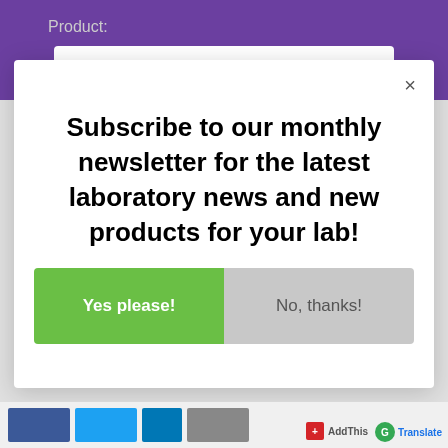Product:
[Figure (screenshot): White input text field on purple background]
×
Subscribe to our monthly newsletter for the latest laboratory news and new products for your lab!
Yes please!
No, thanks!
AddThis
Translate